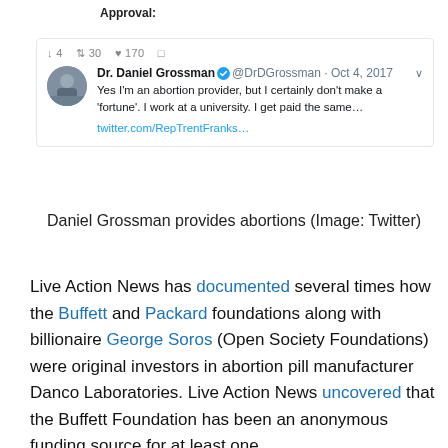Approval:
[Figure (screenshot): Tweet by Dr. Daniel Grossman (@DrDGrossman, Oct 4, 2017): 'Yes I'm an abortion provider, but I certainly don't make a 'fortune'. I work at a university. I get paid the same... twitter.com/RepTrentFranks...']
Daniel Grossman provides abortions (Image: Twitter)
Live Action News has documented several times how the Buffett and Packard foundations along with billionaire George Soros (Open Society Foundations) were original investors in abortion pill manufacturer Danco Laboratories. Live Action News uncovered that the Buffett Foundation has been an anonymous funding source for at least one